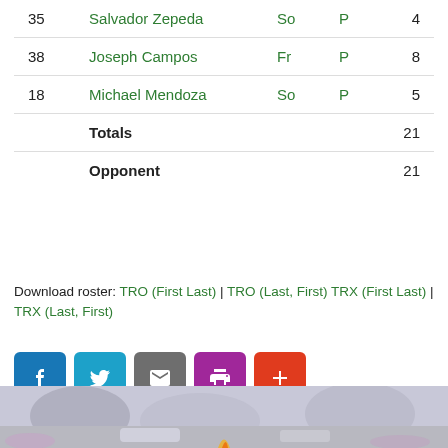| # | Name | Yr | Pos | Pts |
| --- | --- | --- | --- | --- |
| 35 | Salvador Zepeda | So | P | 4 |
| 38 | Joseph Campos | Fr | P | 8 |
| 18 | Michael Mendoza | So | P | 5 |
|  | Totals |  |  | 21 |
|  | Opponent |  |  | 21 |
Download roster: TRO (First Last) | TRO (Last, First) TRX (First Last) | TRX (Last, First)
[Figure (other): Social sharing buttons: Facebook (blue), Twitter (teal), Email (grey), Print (purple), Plus/More (red-orange)]
[Figure (photo): Partial bottom strip showing an outdoor scene with cars and trees, partially cropped]